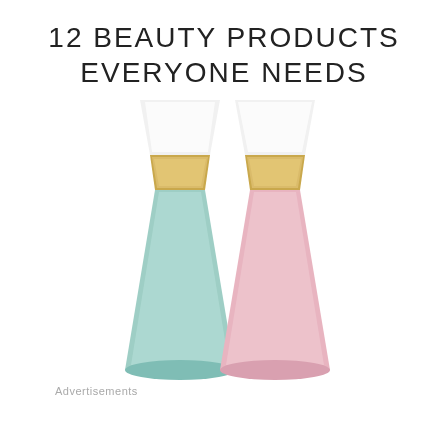12 BEAUTY PRODUCTS EVERYONE NEEDS
[Figure (photo): Two makeup brushes with fan-shaped white bristle heads, gold ferrules, and pastel handles (mint green and pink), crossed in a V shape against a white background.]
Advertisements